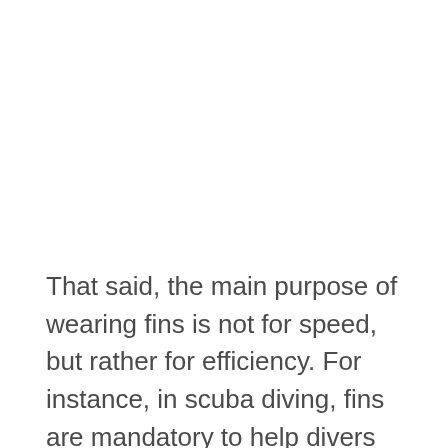That said, the main purpose of wearing fins is not for speed, but rather for efficiency. For instance, in scuba diving, fins are mandatory to help divers lug